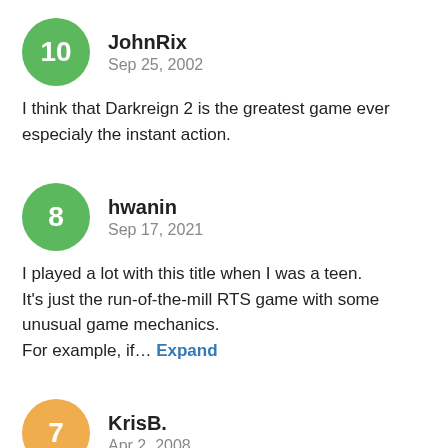10
JohnRix
Sep 25, 2002
I think that Darkreign 2 is the greatest game ever especialy the instant action.
8
hwanin
Sep 17, 2021
I played a lot with this title when I was a teen.
It's just the run-of-the-mill RTS game with some unusual game mechanics.
For example, if… Expand
7
KrisB.
Apr 2, 2008
Well balanced single player campaign caters to noobies to